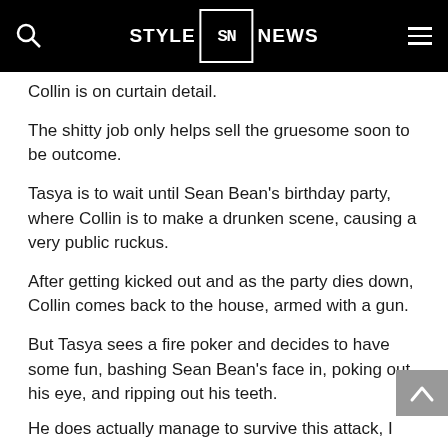STYLE SN NEWS
Collin is on curtain detail.
The shitty job only helps sell the gruesome soon to be outcome.
Tasya is to wait until Sean Bean's birthday party, where Collin is to make a drunken scene, causing a very public ruckus.
After getting kicked out and as the party dies down, Collin comes back to the house, armed with a gun.
But Tasya sees a fire poker and decides to have some fun, bashing Sean Bean's face in, poking out his eye, and ripping out his teeth.
He does actually manage to survive this attack, I know, one